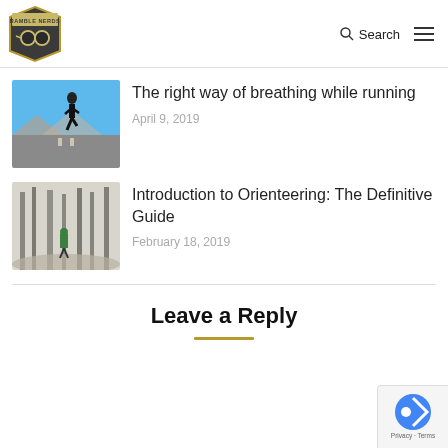RAMBLE NERDS | Search | Menu
[Figure (photo): Runner stretching on road with blue sky background]
The right way of breathing while running
April 9, 2019
[Figure (photo): Person running through a forest with bare trees]
Introduction to Orienteering: The Definitive Guide
February 18, 2019
Leave a Reply